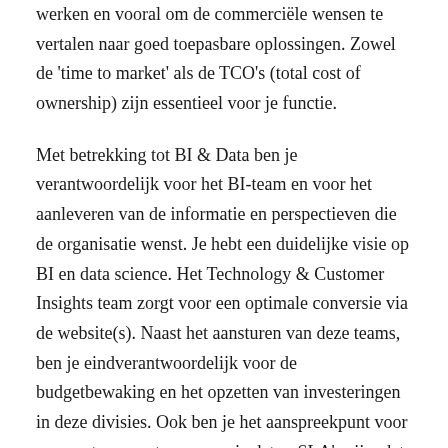werken en vooral om de commerciële wensen te vertalen naar goed toepasbare oplossingen. Zowel de 'time to market' als de TCO's (total cost of ownership) zijn essentieel voor je functie.
Met betrekking tot BI & Data ben je verantwoordelijk voor het BI-team en voor het aanleveren van de informatie en perspectieven die de organisatie wenst. Je hebt een duidelijke visie op BI en data science. Het Technology & Customer Insights team zorgt voor een optimale conversie via de website(s). Naast het aansturen van deze teams, ben je eindverantwoordelijk voor de budgetbewaking en het opzetten van investeringen in deze divisies. Ook ben je het aanspreekpunt voor onze externe partners, zorg je dat er SLA's zijn, dat deze jaarlijks worden geëvalueerd en onderhandel je over tarieven en functioneringsgesprekken.